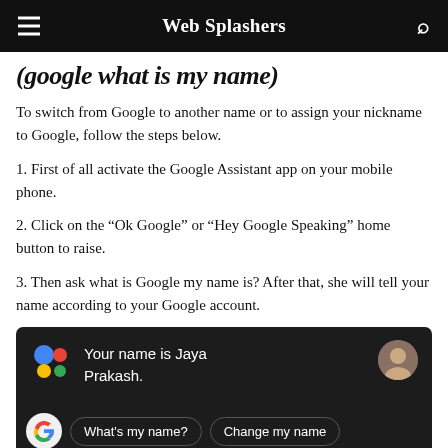Web Splashers
(google what is my name)
To switch from Google to another name or to assign your nickname to Google, follow the steps below.
1. First of all activate the Google Assistant app on your mobile phone.
2. Click on the “Ok Google” or “Hey Google Speaking” home button to raise.
3. Then ask what is Google my name is? After that, she will tell your name according to your Google account.
[Figure (screenshot): Google Assistant screenshot showing 'Your name is Jaya Prakash.' with buttons 'What’s my name?' and 'Change my name']